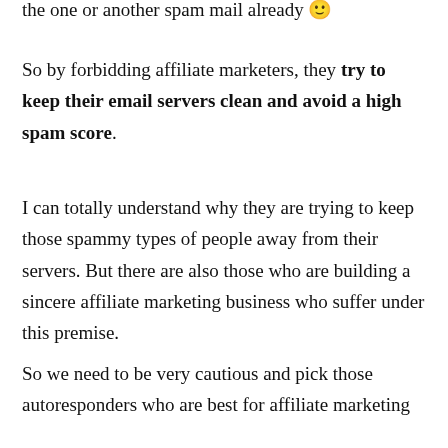the one or another spam mail already 🙂
So by forbidding affiliate marketers, they try to keep their email servers clean and avoid a high spam score.
I can totally understand why they are trying to keep those spammy types of people away from their servers. But there are also those who are building a sincere affiliate marketing business who suffer under this premise.
So we need to be very cautious and pick those autoresponders who are best for affiliate marketing